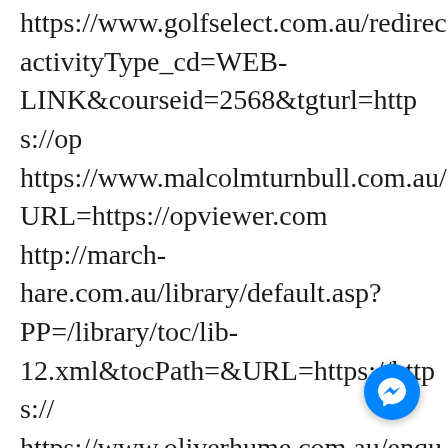https://www.golfselect.com.au/redirect activityType_cd=WEB-LINK&courseid=2568&tgturl=https://op https://www.malcolmturnbull.com.au/ URL=https://opviewer.com http://march-hare.com.au/library/default.asp?PP=/library/toc/lib-12.xml&tocPath=&URL=https://https:// https://www.oliverhume.com.au/enqui you/? redirectTo=https://opviewer.com http://www.parents-guide-
[Figure (illustration): Blue circular Facebook Messenger chat button in bottom right corner]